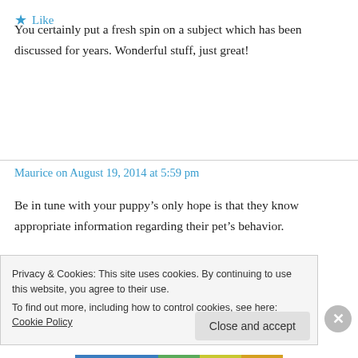You certainly put a fresh spin on a subject which has been discussed for years. Wonderful stuff, just great!
★ Like
Maurice on August 19, 2014 at 5:59 pm
Be in tune with your puppy's only hope is that they know appropriate information regarding their pet's behavior.
Privacy & Cookies: This site uses cookies. By continuing to use this website, you agree to their use.
To find out more, including how to control cookies, see here: Cookie Policy